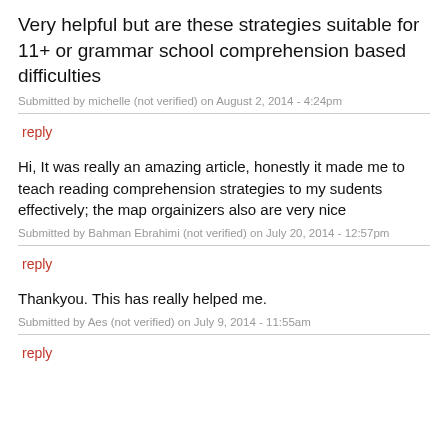Very helpful but are these strategies suitable for 11+ or grammar school comprehension based difficulties
Submitted by michelle (not verified) on August 2, 2014 - 4:24pm
reply
Hi, It was really an amazing article, honestly it made me to teach reading comprehension strategies to my sudents effectively; the map orgainizers also are very nice
Submitted by Bahman Ebrahimi (not verified) on July 20, 2014 - 12:57pm
reply
Thankyou. This has really helped me.
Submitted by Aes (not verified) on July 9, 2014 - 11:55am
reply